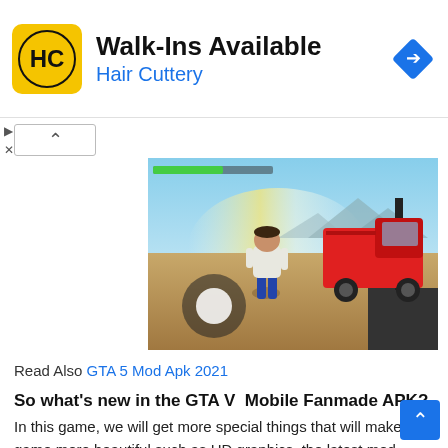[Figure (advertisement): Hair Cuttery ad banner with yellow logo, 'Walk-Ins Available' headline, 'Hair Cuttery' subtitle in blue, and a blue navigation diamond icon on the right]
[Figure (screenshot): GTA V mobile game screenshot showing a character standing near a red pickup truck in a desert environment with blue sky and mountains in background. A circular joystick UI element is visible.]
Read Also GTA 5 Mod Apk 2021
So what's new in the GTA V  Mobile Fanmade APK?
In this game, we will get more special things that will make the game more beautiful such as HD graphics, the latest mod pack, a new skybox, new cars, and bikes. We mod the game more smooth and classic so that you can enjoy the